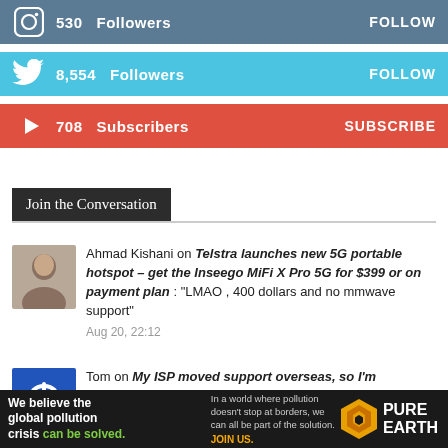530  Followers   FOLLOW
8,554  Followers   FOLLOW
708  Subscribers   SUBSCRIBE
Join the Conversation
Ahmad Kishani on Telstra launches new 5G portable hotspot – get the Inseego MiFi X Pro 5G for $399 or on payment plan : "LMAO , 400 dollars and no mmwave support"
Aug 20, 22:12
Tom on My ISP moved support overseas, so I'm changing NBN providers : "I recently called Superloop to inquiry about free upgrade to Fibre (I was on FTTC). I
[Figure (infographic): Pure Earth advertisement banner: 'We believe the global pollution crisis can be solved.' with tagline and logo]